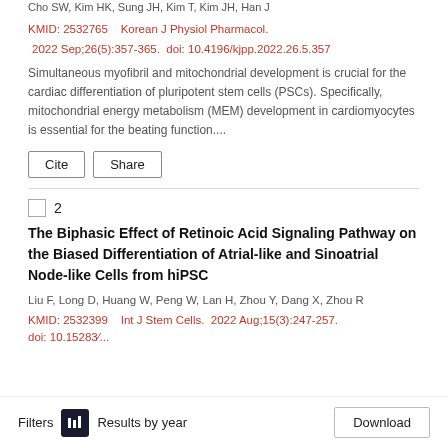Cho SW, Kim HK, Sung JH, Kim T, Kim JH, Han J
KMID: 2532765    Korean J Physiol Pharmacol.  2022 Sep;26(5):357-365.  doi: 10.4196/kjpp.2022.26.5.357
Simultaneous myofibril and mitochondrial development is crucial for the cardiac differentiation of pluripotent stem cells (PSCs). Specifically, mitochondrial energy metabolism (MEM) development in cardiomyocytes is essential for the beating function....
Cite
Share
The Biphasic Effect of Retinoic Acid Signaling Pathway on the Biased Differentiation of Atrial-like and Sinoatrial Node-like Cells from hiPSC
Liu F, Long D, Huang W, Peng W, Lan H, Zhou Y, Dang X, Zhou R
KMID: 2532399    Int J Stem Cells.  2022 Aug;15(3):247-257.
Filters  Results by year  Download